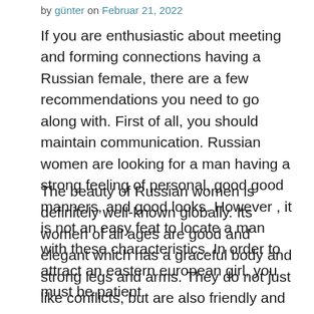by günter on Februar 21, 2022
If you are enthusiastic about meeting and forming connections having a Russian female, there are a few recommendations you need to go along with. First of all, you should maintain communication. Russian women are looking for a man having a strong feeling of personal, good good manners, and good looks. However , it is not an easy feat to locate a man with these characteristics. In order to attract an eastern european girl, you must be patient.
The beauty of Russian women is definitely well-known globally. Its women of all ages are good and elegant which has a graceful body and strong legs and arms. They do not just like conflicts, but are also friendly and enjoy hanging out with other persons. Moreover, they just do not take up many important issues at the same time. Russian young ladies are